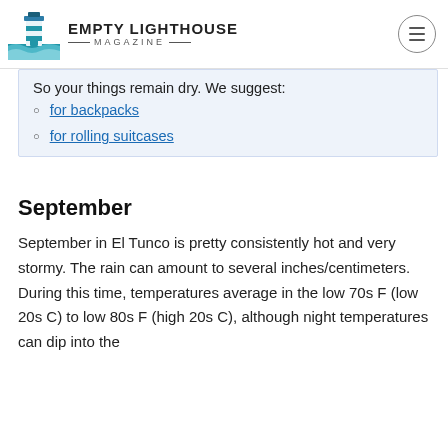EMPTY LIGHTHOUSE MAGAZINE
So your things remain dry. We suggest:
for backpacks
for rolling suitcases
September
September in El Tunco is pretty consistently hot and very stormy. The rain can amount to several inches/centimeters. During this time, temperatures average in the low 70s F (low 20s C) to low 80s F (high 20s C), although night temperatures can dip into the